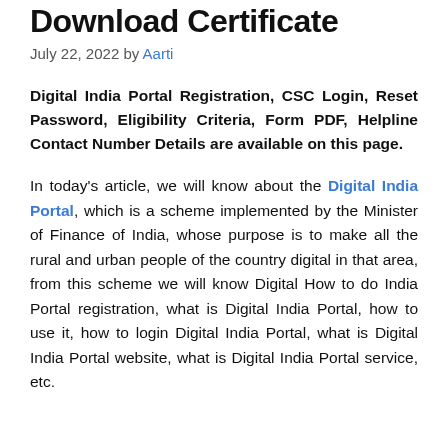Download Certificate
July 22, 2022 by Aarti
Digital India Portal Registration, CSC Login, Reset Password, Eligibility Criteria, Form PDF, Helpline Contact Number Details are available on this page.
In today's article, we will know about the Digital India Portal, which is a scheme implemented by the Minister of Finance of India, whose purpose is to make all the rural and urban people of the country digital in that area, from this scheme we will know Digital How to do India Portal registration, what is Digital India Portal, how to use it, how to login Digital India Portal, what is Digital India Portal website, what is Digital India Portal service, etc.